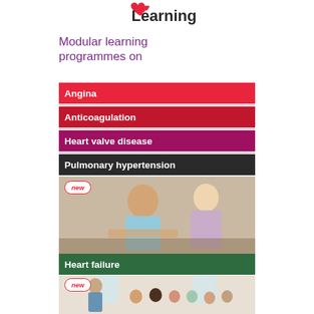[Figure (logo): BHF Learning logo with heart icon and text 'Learning']
Modular learning programmes on
Angina
Anticoagulation
Heart valve disease
Pulmonary hypertension
[Figure (photo): Elderly man in striped shirt talking with a blonde woman, with 'new' badge overlay]
Heart failure
[Figure (photo): Woman presenting to a group of seated people in a bright room, with 'new' badge overlay]